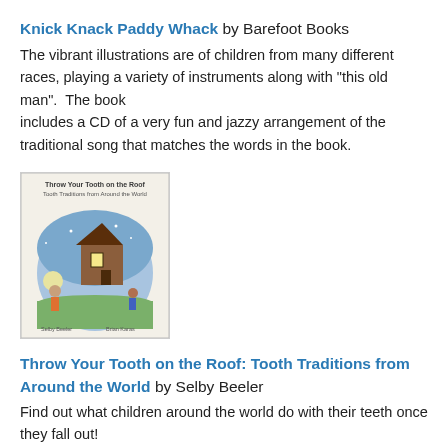Knick Knack Paddy Whack by Barefoot Books
The vibrant illustrations are of children from many different races, playing a variety of instruments along with "this old man".  The book includes a CD of a very fun and jazzy arrangement of the traditional song that matches the words in the book.
[Figure (photo): Book cover of 'Throw Your Tooth on the Roof: Tooth Traditions from Around the World' showing a circular illustration of a house at night with a moon and child figures]
Throw Your Tooth on the Roof: Tooth Traditions from Around the World by Selby Beeler
Find out what children around the world do with their teeth once they fall out!